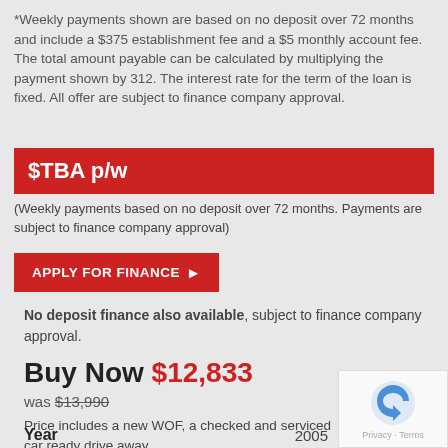*Weekly payments shown are based on no deposit over 72 months and include a $375 establishment fee and a $5 monthly account fee. The total amount payable can be calculated by multiplying the payment shown by 312. The interest rate for the term of the loan is fixed. All offer are subject to finance company approval.
$TBA p/w
(Weekly payments based on no deposit over 72 months. Payments are subject to finance company approval)
APPLY FOR FINANCE
No deposit finance also available, subject to finance company approval.
Buy Now $12,833
was $13,990
Price includes a new WOF, a checked and serviced car ready drive away.
Year 2005